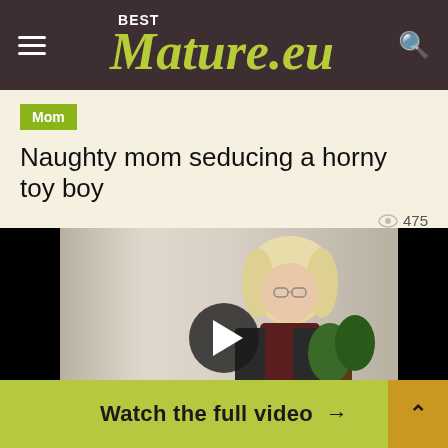BestMature.eu
Mom
Naughty mom seducing a horny toy boy
475
[Figure (screenshot): Video thumbnail showing a blonde woman wearing glasses and a dark turtleneck with a black jacket, seated near a plant with white curtain background. A circular play button overlay is shown in the center. Black bars on left and right.]
This site uses cookies. By continuing to browse the site you
Watch the full video →